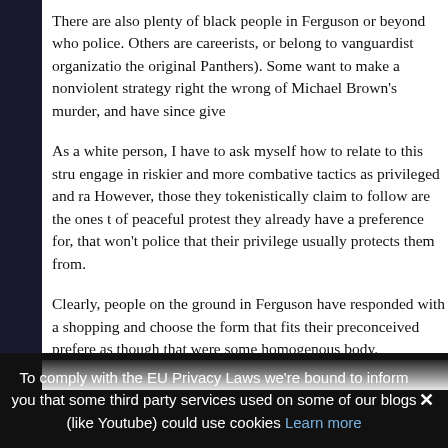There are also plenty of black people in Ferguson or beyond who police. Others are careerists, or belong to vanguardist organizatio the original Panthers). Some want to make a nonviolent strategy right the wrong of Michael Brown’s murder, and have since give
As a white person, I have to ask myself how to relate to this stru engage in riskier and more combative tactics as privileged and ra However, those they tokenistically claim to follow are the ones t of peaceful protest they already have a preference for, that won’t police that their privilege usually protects them from.
Clearly, people on the ground in Ferguson have responded with a shopping and choose the form that fits their preconceived prefere as though that were some homogenous body.
I think true solidarity can only exist between people or groups th what it is like for people of color in this society. I don’t think I…
To comply with the EU Privacy Laws we’re bound to inform you that some third party services used on some of our blogs (like Youtube) could use cookies Learn more